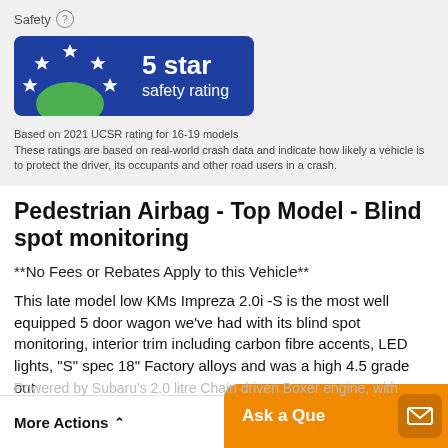Safety
[Figure (infographic): 5 star safety rating badge with blue background, showing green semicircle with 5 blue stars arranged in arc pattern]
Based on 2021 UCSR rating for 16-19 models
These ratings are based on real-world crash data and indicate how likely a vehicle is to protect the driver, its occupants and other road users in a crash.
Pedestrian Airbag - Top Model - Blind spot monitoring
**No Fees or Rebates Apply to this Vehicle**
This late model low KMs Impreza 2.0i -S is the most well equipped 5 door wagon we've had with its blind spot monitoring, interior trim including carbon fibre accents, LED lights, "S" spec 18" Factory alloys and was a high 4.5 grade out of 5 at auction!
More Actions
Ask a Que